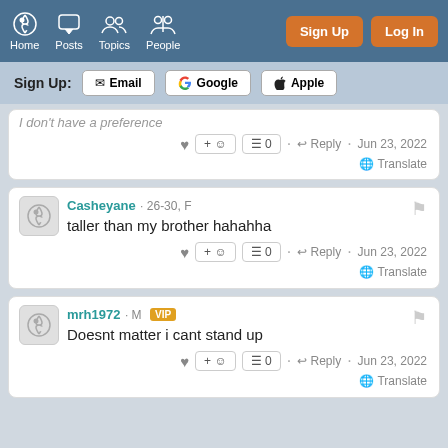Home Posts Topics People | Sign Up  Log In
Sign Up: Email | Google | Apple
I don't have a preference
Reply · Jun 23, 2022 · Translate
Casheyane · 26-30, F
taller than my brother hahahha
Reply · Jun 23, 2022 · Translate
mrh1972 · M VIP
Doesnt matter i cant stand up
Reply · Jun 23, 2022 · Translate